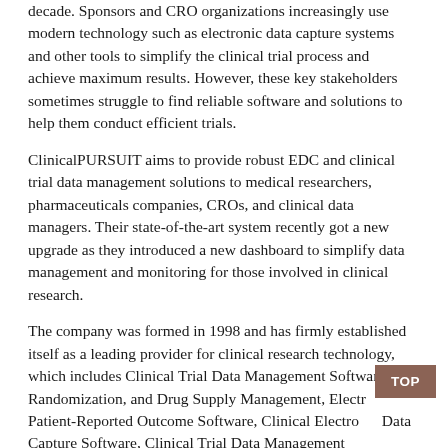decade. Sponsors and CRO organizations increasingly use modern technology such as electronic data capture systems and other tools to simplify the clinical trial process and achieve maximum results. However, these key stakeholders sometimes struggle to find reliable software and solutions to help them conduct efficient trials.
ClinicalPURSUIT aims to provide robust EDC and clinical trial data management solutions to medical researchers, pharmaceuticals companies, CROs, and clinical data managers. Their state-of-the-art system recently got a new upgrade as they introduced a new dashboard to simplify data management and monitoring for those involved in clinical research.
The company was formed in 1998 and has firmly established itself as a leading provider for clinical research technology, which includes Clinical Trial Data Management Software, Randomization, and Drug Supply Management, Electronic Patient-Reported Outcome Software, Clinical Electronic Data Capture Software, Clinical Trial Data Management Solutions, and more. They also offer freely available...